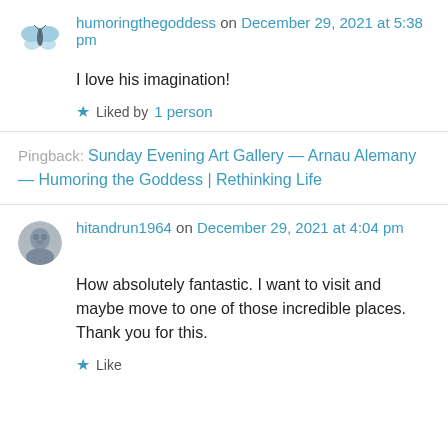humoringthegoddess on December 29, 2021 at 5:38 pm
I love his imagination!
Liked by 1 person
Pingback: Sunday Evening Art Gallery — Arnau Alemany — Humoring the Goddess | Rethinking Life
hitandrun1964 on December 29, 2021 at 4:04 pm
How absolutely fantastic. I want to visit and maybe move to one of those incredible places. Thank you for this.
Like